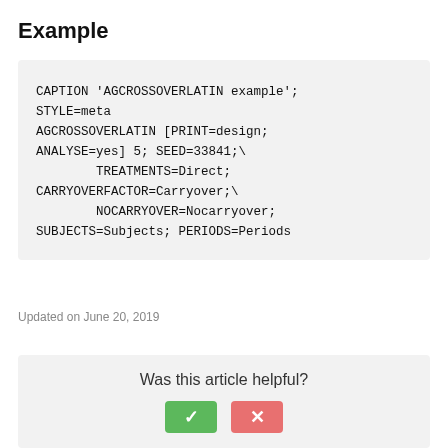Example
CAPTION 'AGCROSSOVERLATIN example';
STYLE=meta
AGCROSSOVERLATIN [PRINT=design;
ANALYSE=yes] 5; SEED=33841;\
        TREATMENTS=Direct;
CARRYOVERFACTOR=Carryover;\
        NOCARRYOVER=Nocarryover;
SUBJECTS=Subjects; PERIODS=Periods
Updated on June 20, 2019
Was this article helpful?